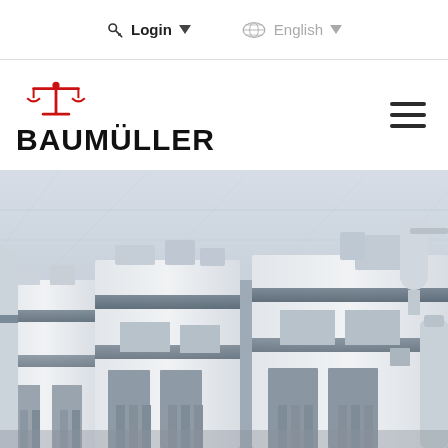Login  English
[Figure (logo): Baumüller company logo with red scale/balance icon above bold black BAUMÜLLER text]
[Figure (photo): Industrial machinery photo showing large white pressing or manufacturing machines in a factory setting, grey architectural background with geometric patterns]